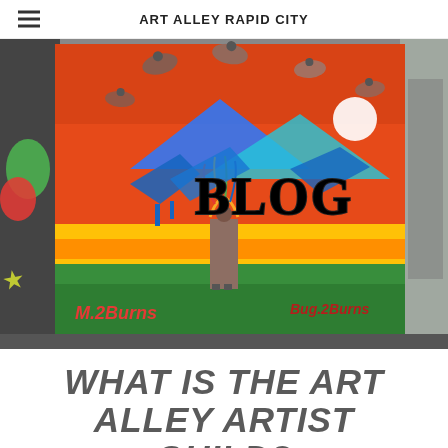ART ALLEY RAPID CITY
[Figure (photo): Colorful graffiti mural in an alley showing motocross riders, a Native American figure in headdress, blue mountain shapes, orange and green background, with 'BLOG' graffiti text overlaid in black with blue drip-style lettering. Tags including 'M.2Burns' visible at bottom. Surrounding alley walls with additional graffiti visible on sides.]
WHAT IS THE ART ALLEY ARTIST GUILD?